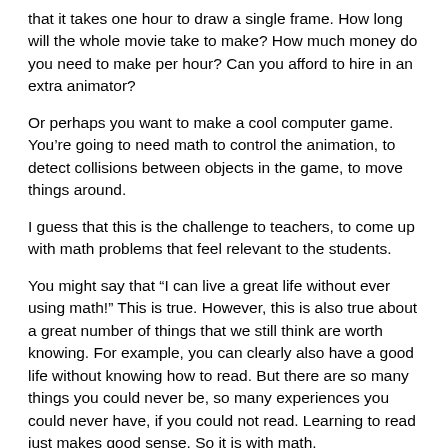that it takes one hour to draw a single frame. How long will the whole movie take to make? How much money do you need to make per hour? Can you afford to hire in an extra animator?
Or perhaps you want to make a cool computer game. You're going to need math to control the animation, to detect collisions between objects in the game, to move things around.
I guess that this is the challenge to teachers, to come up with math problems that feel relevant to the students.
You might say that “I can live a great life without ever using math!” This is true. However, this is also true about a great number of things that we still think are worth knowing. For example, you can clearly also have a good life without knowing how to read. But there are so many things you could never be, so many experiences you could never have, if you could not read. Learning to read just makes good sense. So it is with math.